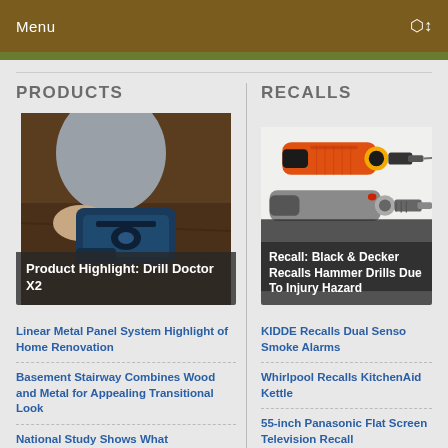Menu
PRODUCTS
[Figure (photo): Person working on a blue power tool / drill sharpener on a wooden surface]
Product Highlight: Drill Doctor X2
Linear Metal Panel System Highlight of Home Renovation
Basement Stairway Combines Wood and Metal for Appealing Transitional Look
National Study Shows What Homeowners Really:
RECALLS
[Figure (photo): Multiple power drills including a Black & Decker orange and black hammer drill and other drill models on white background]
Recall: Black & Decker Recalls Hammer Drills Due To Injury Hazard
KIDDE Recalls Dual Senso Smoke Alarms
Whirlpool Recalls KitchenAid Kettle
55-inch Panasonic Flat Screen Television Recall
Recall: Craftsman Portable Table Saws